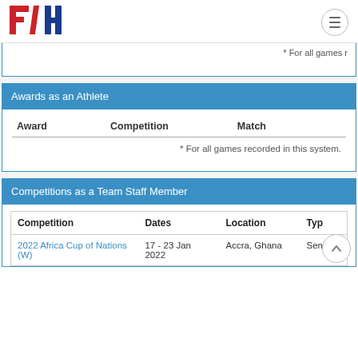[Figure (logo): FIH (Fédération Internationale de Hockey) logo in red and blue]
* For all games r
Awards as an Athlete
| Award | Competition | Match |
| --- | --- | --- |
|  | * For all games recorded in this system. |  |
Competitions as a Team Staff Member
| Competition | Dates | Location | Typ |
| --- | --- | --- | --- |
| 2022 Africa Cup of Nations (W) | 17 - 23 Jan 2022 | Accra, Ghana | Seni |